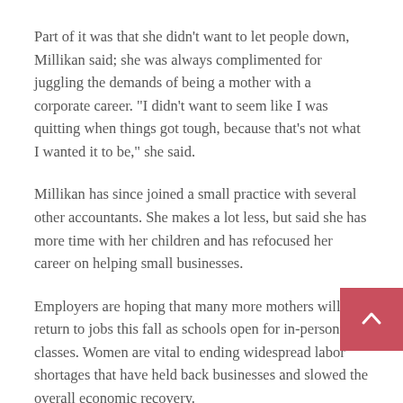Part of it was that she didn't want to let people down, Millikan said; she was always complimented for juggling the demands of being a mother with a corporate career. "I didn't want to seem like I was quitting when things got tough, because that's not what I wanted it to be," she said.
Millikan has since joined a small practice with several other accountants. She makes a lot less, but said she has more time with her children and has refocused her career on helping small businesses.
Employers are hoping that many more mothers will return to jobs this fall as schools open for in-person classes. Women are vital to ending widespread labor shortages that have held back businesses and slowed the overall economic recovery.
Total employment of women with children under 18 was